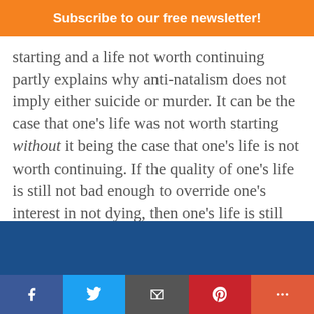Subscribe to our free newsletter!
starting and a life not worth continuing partly explains why anti-natalism does not imply either suicide or murder. It can be the case that one’s life was not worth starting without it being the case that one’s life is not worth continuing. If the quality of one’s life is still not bad enough to override one’s interest in not dying, then one’s life is still worth continuing, even though the current and future harms are sufficient to make it the case that one’s life was not worth starting
Social share bar: Facebook, Twitter, Email, Pinterest, More